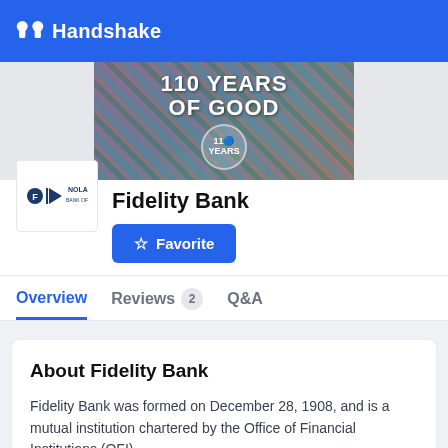Handshake
[Figure (photo): Banner image showing a collage of diverse people with text '110 YEARS OF GOOD' and a circular badge showing '110 YEARS']
[Figure (logo): Fidelity Bank logo showing Fidelity and NOLA branding]
Fidelity Bank
Favorite
Overview   Reviews 2   Q&A
About Fidelity Bank
Fidelity Bank was formed on December 28, 1908, and is a mutual institution chartered by the Office of Financial Institutions (OFI).